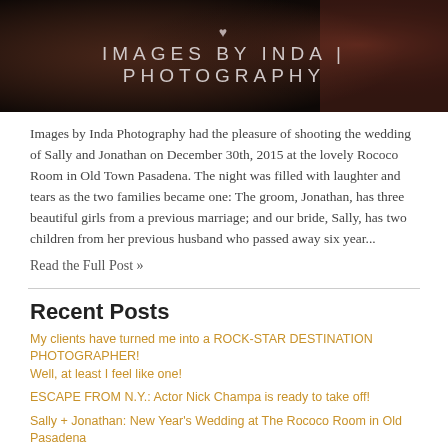[Figure (photo): Dark wedding venue/event photo background with 'IMAGES BY INDA PHOTOGRAPHY' text overlay with decorative heart symbol above]
Images by Inda Photography had the pleasure of shooting the wedding of Sally and Jonathan on December 30th, 2015 at the lovely Rococo Room in Old Town Pasadena. The night was filled with laughter and tears as the two families became one: The groom, Jonathan, has three beautiful girls from a previous marriage; and our bride, Sally, has two children from her previous husband who passed away six year...
Read the Full Post »
Recent Posts
My clients have turned me into a ROCK-STAR DESTINATION PHOTOGRAPHER! Well, at least I feel like one!
ESCAPE FROM N.Y.: Actor Nick Champa is ready to take off!
Sally + Jonathan: New Year's Wedding at The Rococo Room in Old Pasadena
Archive